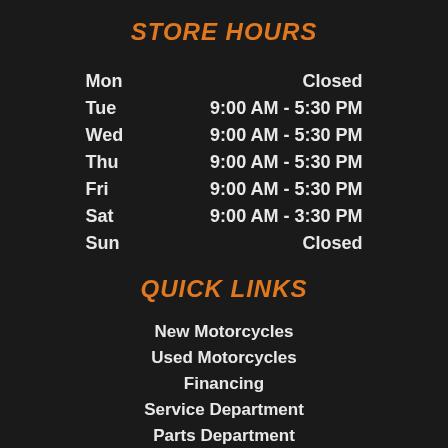STORE HOURS
| Day | Hours |
| --- | --- |
| Mon | Closed |
| Tue | 9:00 AM - 5:30 PM |
| Wed | 9:00 AM - 5:30 PM |
| Thu | 9:00 AM - 5:30 PM |
| Fri | 9:00 AM - 5:30 PM |
| Sat | 9:00 AM - 3:30 PM |
| Sun | Closed |
QUICK LINKS
New Motorcycles
Used Motorcycles
Financing
Service Department
Parts Department
Harley-Davidson® Insurance
Contact Us